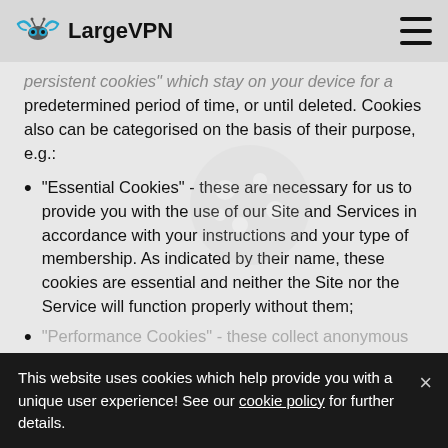LargeVPN
persistent cookies" which stay on your device for a predetermined period of time, or until deleted. Cookies also can be categorised on the basis of their purpose, e.g.:
"Essential Cookies" - these are necessary for us to provide you with the use of our Site and Services in accordance with your instructions and your type of membership. As indicated by their name, these cookies are essential and neither the Site nor the Service will function properly without them;
"Performance Cookies" - these collect anonymous information about how visitors use our Site and Services, e.g. information relating to how often particular pages are viewed or to certain pages
This website uses cookies which help provide you with a unique user experience! See our cookie policy for further details.